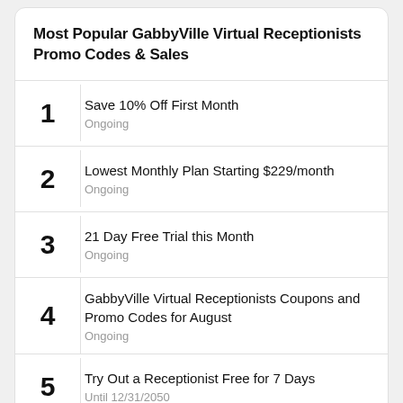Most Popular GabbyVille Virtual Receptionists Promo Codes & Sales
1
Save 10% Off First Month
Ongoing
2
Lowest Monthly Plan Starting $229/month
Ongoing
3
21 Day Free Trial this Month
Ongoing
4
GabbyVille Virtual Receptionists Coupons and Promo Codes for August
Ongoing
5
Try Out a Receptionist Free for 7 Days
Until 12/31/2050